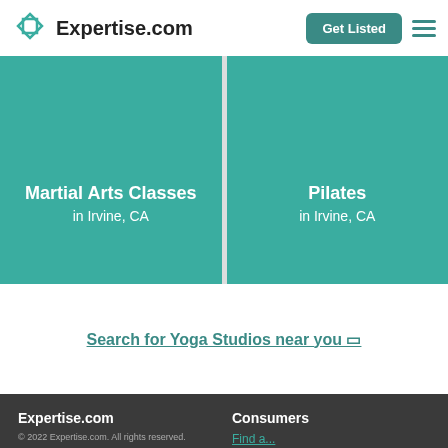Expertise.com — Get Listed
[Figure (illustration): Two teal category cards: 'Martial Arts Classes in Irvine, CA' and 'Pilates in Irvine, CA']
Search for Yoga Studios near you 🔗
Expertise.com — © 2022 Expertise.com. All rights reserved. | About | Careers — Consumers | Find a... | Resou... | Research — For Providers